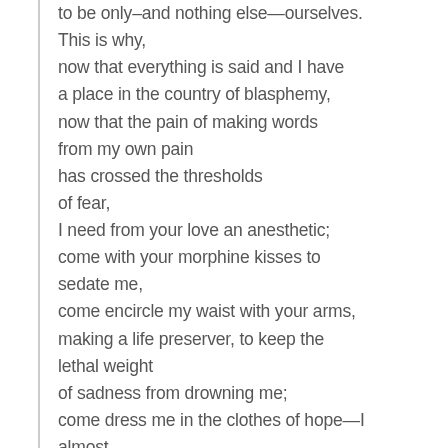to be only–and nothing else—ourselves. This is why,
now that everything is said and I have
a place in the country of blasphemy,
now that the pain of making words
from my own pain
has crossed the thresholds
of fear,
I need from your love an anesthetic;
come with your morphine kisses to sedate me,
come encircle my waist with your arms,
making a life preserver, to keep the lethal weight
of sadness from drowning me;
come dress me in the clothes of hope—I almost
had forgotten a word like that—,
even if they fit me big as on a child